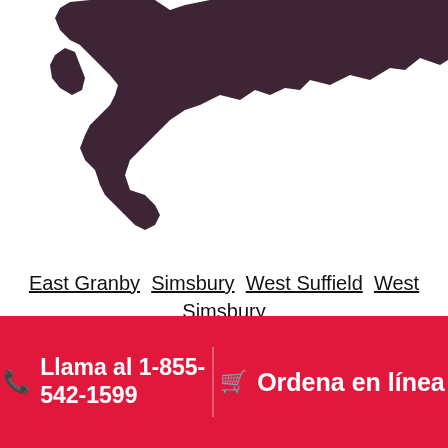[Figure (map): Partial map of the Hartford Connecticut region shown in dark purple/maroon color, cropped at top]
East Granby  Simsbury  West Suffield  West Simsbury  Barkhamsted  Southwick  Suffield  Windsor Locks  Bloomfield  Feeding Hills  Avon  Enfield  Windsor  Canton  New Hartford  Collinsville  Westfield  Agawam  East Windsor  Longmeadow  South Windsor  Broad Brook  West Hartford  West Springfield  Winsted  Hartford  Springfield  Unionville
Llama al 1-855-542-1599   Ordena en línea